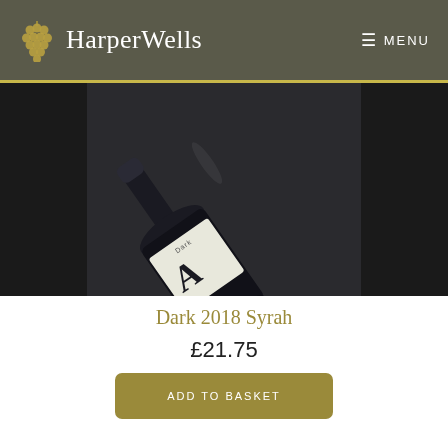HarperWells   MENU
[Figure (photo): Close-up photo of a dark wine bottle lying on its side against a dark grey background. The bottle has a white label with stylized lettering reading ALJA or similar. The bottle neck points to the upper left.]
Dark 2018 Syrah
£21.75
ADD TO BASKET